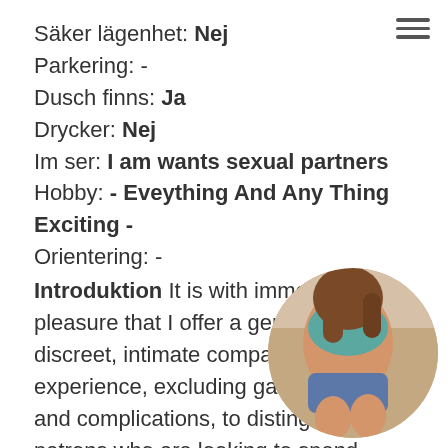Säker lägenhet: Nej
Parkering: -
Dusch finns: Ja
Drycker: Nej
Im ser: I am wants sexual partners
Hobby: - Eveything And Any Thing Exciting -
Orientering: -
Introduktion It is with immense pleasure that I offer a genuine and discreet, intimate companionship experience, excluding games, drama and complications, to distinguished patrons who are looking to spend extended sensual moments in exquisite company. It is with immense pleasure that I offer a genuine and discreet, intimate companionship experience, excluding games, drama and complications, to distinguished patrons who are looking to spend extended sensual moments in exquisite company. My name is Gabriella, I am 5' 8 and possess
[Figure (photo): Circular cropped photo of a young woman in a teal tank top and denim shorts, seated and facing away from camera]